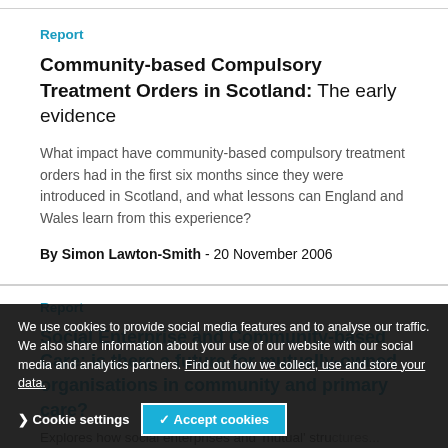Report
Community-based Compulsory Treatment Orders in Scotland: The early evidence
What impact have community-based compulsory treatment orders had in the first six months since they were introduced in Scotland, and what lessons can England and Wales learn from this experience?
By Simon Lawton-Smith - 20 November 2006
Report
Social Enterprise and Community-based Care: is there a future for mutually-owned organisations in community and primary care?
Explores how social enterprises and 'mutual' structures...
We use cookies to provide social media features and to analyse our traffic. We also share information about your use of our website with our social media and analytics partners. Find out how we collect, use and store your data.